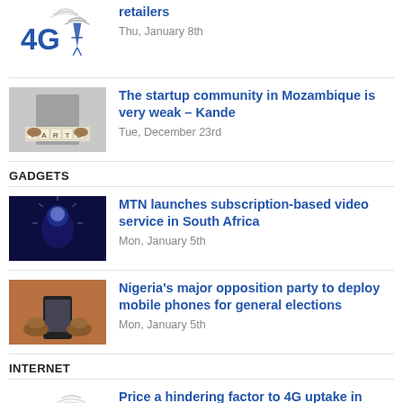Price a hindering factor to 4G uptake in Rwanda – retailers
Thu, January 8th
The startup community in Mozambique is very weak – Kande
Tue, December 23rd
GADGETS
MTN launches subscription-based video service in South Africa
Mon, January 5th
Nigeria's major opposition party to deploy mobile phones for general elections
Mon, January 5th
INTERNET
Price a hindering factor to 4G uptake in Rwanda – retailers
Thu, January 8th